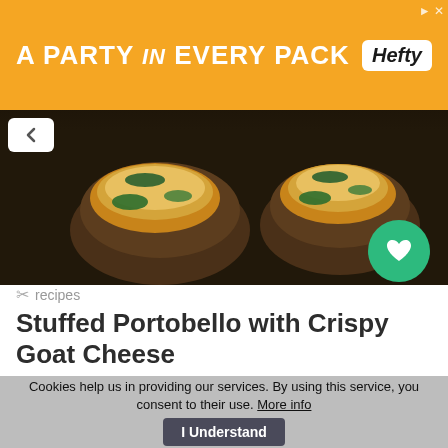[Figure (other): Orange advertisement banner: 'A PARTY in EVERY PACK' with Hefty logo on right]
[Figure (photo): Dark food photo showing stuffed portobello mushrooms with golden crispy topping and greens on a wooden surface]
recipes
Stuffed Portobello with Crispy Goat Cheese
[Figure (other): 5 orange star rating icons]
…marinara, sautéed spinach, and crispy panko goat cheese medallions. A delicious and easy vegetarian…
Similar recipes like Stuffed Portobello with Crispy Goat Cheese
Cookies help us in providing our services. By using this service, you consent to their use. More info  I Understand